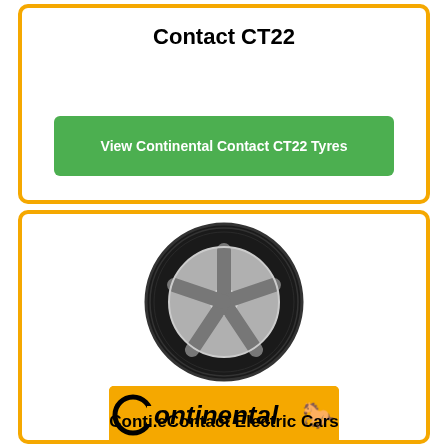Contact CT22
View Continental Contact CT22 Tyres
[Figure (photo): Continental tyre on a five-spoke silver rim, viewed from a front-angle perspective]
[Figure (logo): Continental logo on orange/yellow background with a horse silhouette]
Conti.eContact Electric Cars